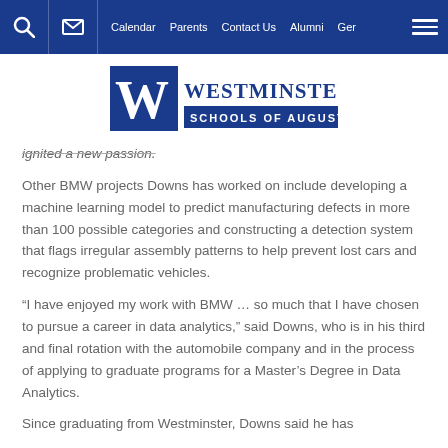Calendar  Parents  Contact Us  Alumni  Ger
[Figure (logo): Westminster Schools of Augusta logo with W emblem and blue banner]
ignited a new passion.
Other BMW projects Downs has worked on include developing a machine learning model to predict manufacturing defects in more than 100 possible categories and constructing a detection system that flags irregular assembly patterns to help prevent lost cars and recognize problematic vehicles.
“I have enjoyed my work with BMW … so much that I have chosen to pursue a career in data analytics,” said Downs, who is in his third and final rotation with the automobile company and in the process of applying to graduate programs for a Master’s Degree in Data Analytics.
Since graduating from Westminster, Downs said he has